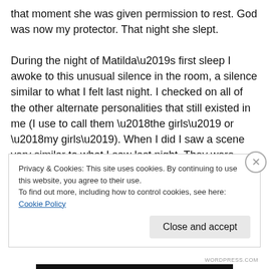that moment she was given permission to rest. God was now my protector. That night she slept.

During the night of Matilda’s first sleep I awoke to this unusual silence in the room, a silence similar to what I felt last night. I checked on all of the other alternate personalities that still existed in me (I use to call them ‘the girls’ or ‘my girls’). When I did I saw a scene very similar to what I saw last night. They were afraid. I could see their childlike eyes wide and filled with fear. Their source of protection was now asleep and they had lost their safety.
Privacy & Cookies: This site uses cookies. By continuing to use this website, you agree to their use.
To find out more, including how to control cookies, see here: Cookie Policy